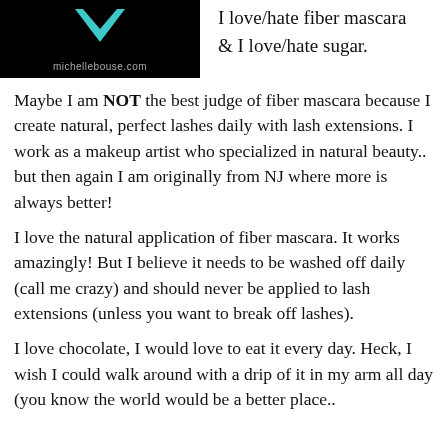[Figure (logo): Michelle Bouse logo with teal check mark on black background with text michellebouse.com]
I love/hate fiber mascara & I love/hate sugar.
Maybe I am NOT the best judge of fiber mascara because I create natural, perfect lashes daily with lash extensions.  I work as a makeup artist who specialized in natural beauty.. but then again I am originally from NJ where more is always better!
I love the natural application of fiber mascara.  It works amazingly!  But I believe it needs to be washed off daily (call me crazy) and should never be applied to lash extensions (unless you want to break off lashes).
I love chocolate, I would love to eat it every day.  Heck, I wish I could walk around with a drip of it in my arm all day (you know the world would be a better place..